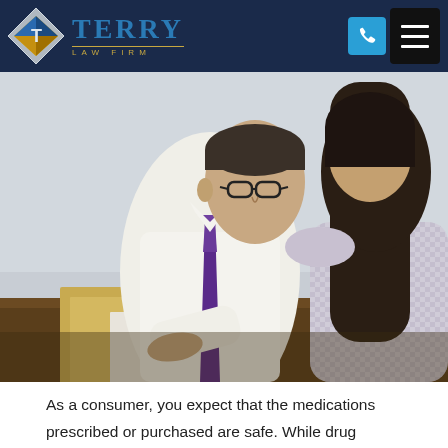Terry Law Firm
[Figure (photo): A male attorney in a white shirt and purple tie sits at a desk reviewing documents with a female client whose back is to the camera. The attorney is pointing at papers on the desk.]
As a consumer, you expect that the medications prescribed or purchased are safe. While drug manufacturers are required to do some testing on their products, they oftentimes rush